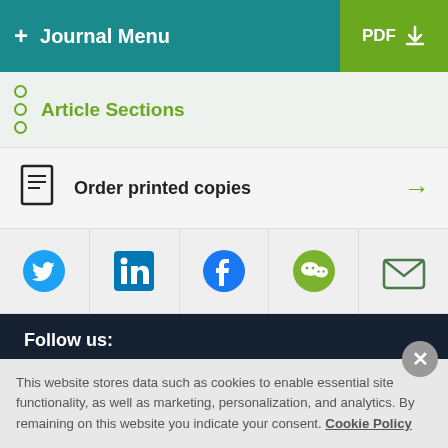+ Journal Menu | PDF
Article Sections
Order printed copies →
[Figure (screenshot): Social sharing icons: Twitter, LinkedIn, Facebook, WeChat, Email]
Follow us:
[Figure (screenshot): Follow us social icons: Twitter, LinkedIn, YouTube, Facebook]
This website stores data such as cookies to enable essential site functionality, as well as marketing, personalization, and analytics. By remaining on this website you indicate your consent. Cookie Policy